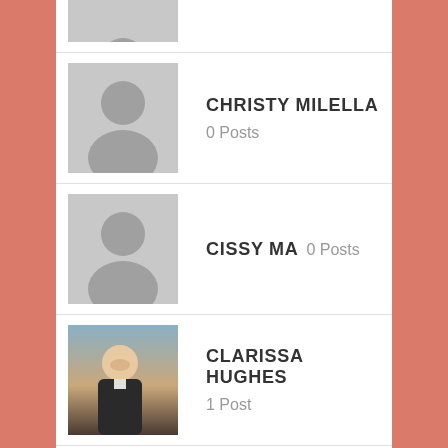[Figure (screenshot): User list with avatars showing member names and post counts]
CHRISTY MILELLA 0 Posts
CISSY MA 0 Posts
CLARISSA HUGHES 1 Post
DANA ELENA MUSOIU 0 Posts
DEANNA NAPIER 2 Posts